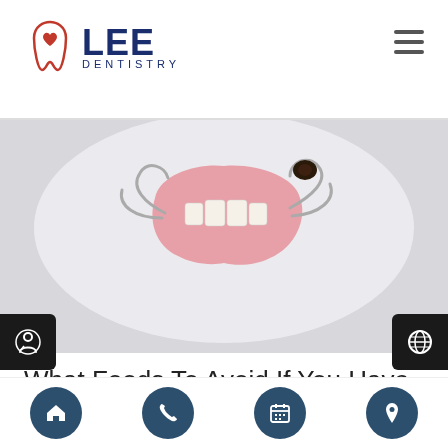LEE DENTISTRY
[Figure (photo): Close-up photo of a partial denture dental appliance with metal clasps and pink acrylic gum base with artificial teeth, placed on a white surface.]
What Foods To Avoid If You Have Partial Dentures
Partial dentures can be an affordable way to replace missing teeth. They can restore your smile, and they cost significantly less than alternatives like implants or dental bridges. Dentists typically recommend partial dentures when a patient has only lost some of their teeth. However, complete denture sets are
Navigation bar with home, phone, calendar, and location icons